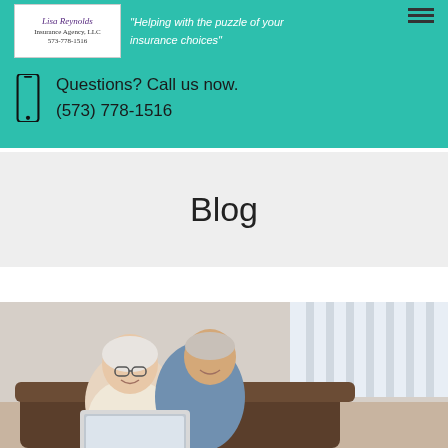Lisa Reynolds Insurance Agency, LLC 573-778-1516 — 'Helping with the puzzle of your insurance choices'
Questions? Call us now.
(573) 778-1516
Blog
[Figure (photo): Elderly couple sitting on a couch smiling at a laptop computer]